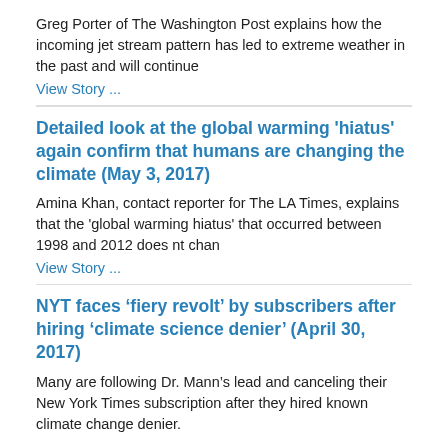Greg Porter of The Washington Post explains how the incoming jet stream pattern has led to extreme weather in the past and will continue
View Story ...
Detailed look at the global warming 'hiatus' again confirm that humans are changing the climate (May 3, 2017)
Amina Khan, contact reporter for The LA Times, explains that the 'global warming hiatus' that occurred between 1998 and 2012 does nt chan
View Story ...
NYT faces ‘fiery revolt’ by subscribers after hiring ‘climate science denier’ (April 30, 2017)
Many are following Dr. Mann’s lead and canceling their New York Times subscription after they hired known climate change denier.